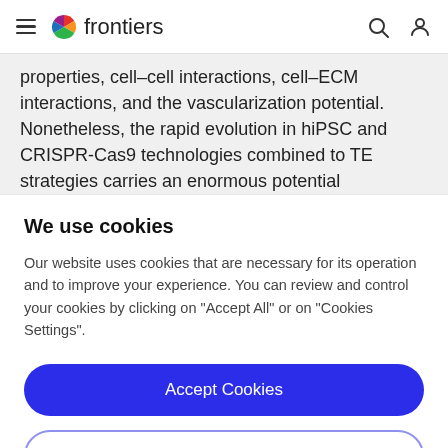frontiers
properties, cell–cell interactions, cell–ECM interactions, and the vascularization potential. Nonetheless, the rapid evolution in hiPSC and CRISPR-Cas9 technologies combined to TE strategies carries an enormous potential
We use cookies
Our website uses cookies that are necessary for its operation and to improve your experience. You can review and control your cookies by clicking on "Accept All" or on "Cookies Settings".
Accept Cookies
Cookies Settings